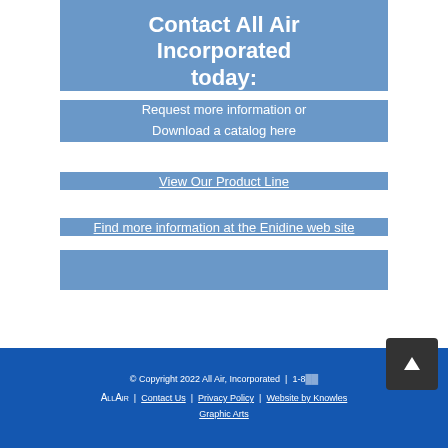Contact All Air Incorporated today:
Request more information or
Download a catalog here
View Our Product Line
Find more information at the Enidine web site
© Copyright 2022 All Air, Incorporated  |  1-8…  ALLAIR  |  Contact Us  |  Privacy Policy  |  Website by Knowles Graphic Arts